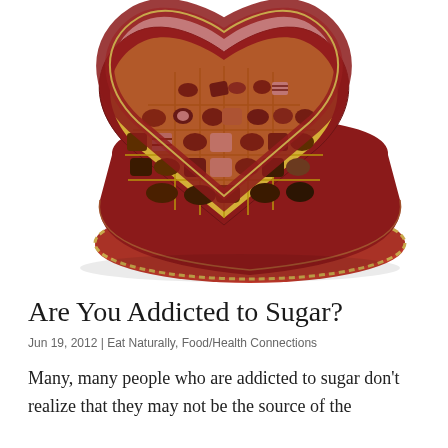[Figure (photo): A heart-shaped red velvet chocolate box with gold interior, open lid revealing an assortment of various chocolates arranged in gold compartments. The lid is slightly tilted behind the box, and the box rests on a red circular base with gold trim rope.]
Are You Addicted to Sugar?
Jun 19, 2012 | Eat Naturally, Food/Health Connections
Many, many people who are addicted to sugar don't realize that they may not be the source of the